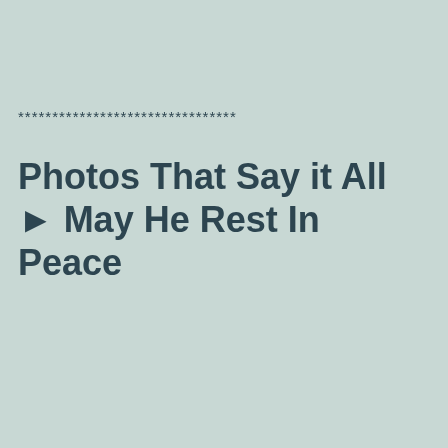********************************
Photos That Say it All ► May He Rest In Peace